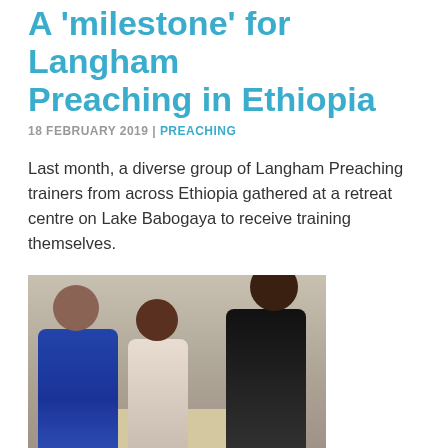A 'milestone' for Langham Preaching in Ethiopia
18 FEBRUARY 2019 | PREACHING
Last month, a diverse group of Langham Preaching trainers from across Ethiopia gathered at a retreat centre on Lake Babogaya to receive training themselves.
[Figure (photo): Three men sitting around a small table, leaning in and looking at papers/documents, in what appears to be a room interior. One man wears a blue plaid shirt, another wears a white shirt, and another wears a black sweater.]
Attendees of the trainers' workshop took